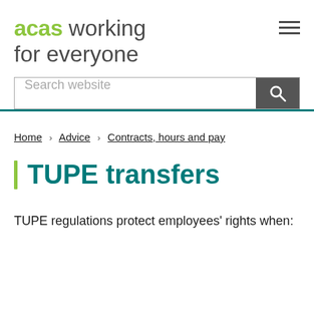acas working for everyone
Search website
Home > Advice > Contracts, hours and pay
TUPE transfers
TUPE regulations protect employees' rights when: